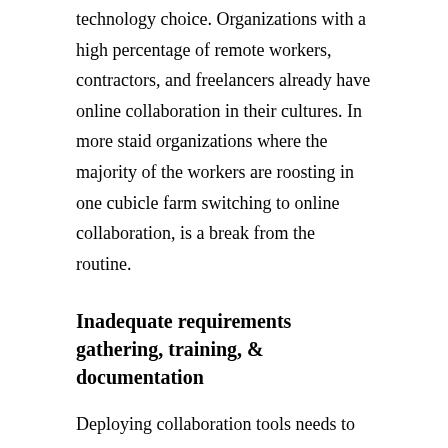technology choice. Organizations with a high percentage of remote workers, contractors, and freelancers already have online collaboration in their cultures. In more staid organizations where the majority of the workers are roosting in one cubicle farm switching to online collaboration, is a break from the routine.
Inadequate requirements gathering, training, & documentation
Deploying collaboration tools needs to be undertaken with the same care as any major technology initiative or implementation. Let's say, you roll out SharePoint to your organization and teams expect to adopt it for document management and collaboration. There needs to be the resulting analysis, training, job aids, and other